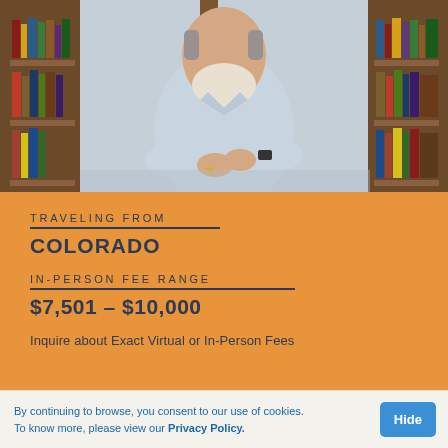[Figure (photo): Man with white beard, arms crossed, wearing a light blue button-down shirt, standing in front of wooden bookshelves filled with books.]
TRAVELING FROM
COLORADO
IN-PERSON FEE RANGE
$7,501 – $10,000
Inquire about Exact Virtual or In-Person Fees
By continuing to browse, you consent to our use of cookies. To know more, please view our Privacy Policy.